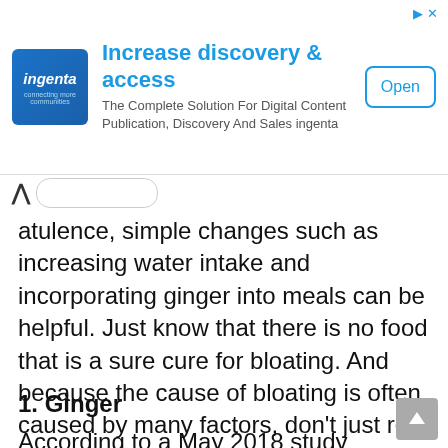[Figure (screenshot): Advertisement banner for Ingenta: 'Increase discovery & access — The Complete Solution For Digital Content Publication, Discovery And Sales ingenta' with an Open button]
atulence, simple changes such as increasing water intake and incorporating ginger into meals can be helpful. Just know that there is no food that is a sure cure for bloating. And because the cause of bloating is often caused by many factors, don't just rely on cucumbers to cure your GI symptoms. The good news is that you can try these natural abdominal remedies. Read on the 15 best foods for bloating.
1. Ginger
According to a May 2018 study published in the